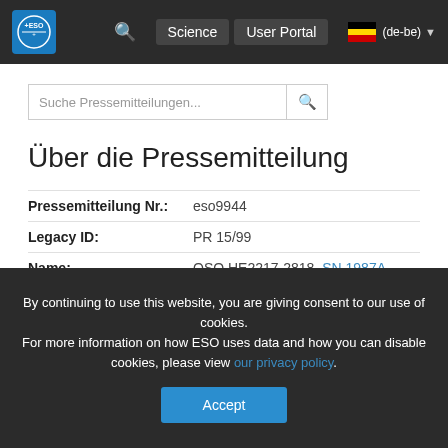ESO Science User Portal (de-be)
Suche Pressemitteilungen...
Über die Pressemitteilung
| Field | Value |
| --- | --- |
| Pressemitteilung Nr.: | eso9944 |
| Legacy ID: | PR 15/99 |
| Name: | QSO HE2217-2818, SN 1987A, Spectrum |
| Typ: | Local Universe : Star : Evolutionary Stage : Supernova
Early Universe : Galaxy : Activity : AGN : Quasar |
By continuing to use this website, you are giving consent to our use of cookies.
For more information on how ESO uses data and how you can disable cookies, please view our privacy policy.
Accept